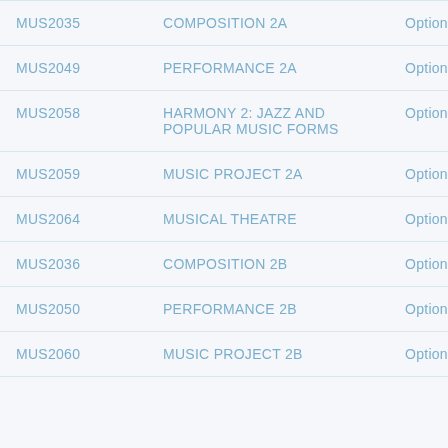| Code | Course Name | Type |
| --- | --- | --- |
| MUS2035 | COMPOSITION 2A | Option |
| MUS2049 | PERFORMANCE 2A | Option |
| MUS2058 | HARMONY 2: JAZZ AND POPULAR MUSIC FORMS | Option |
| MUS2059 | MUSIC PROJECT 2A | Option |
| MUS2064 | MUSICAL THEATRE | Option |
| MUS2036 | COMPOSITION 2B | Option |
| MUS2050 | PERFORMANCE 2B | Option |
| MUS2060 | MUSIC PROJECT 2B | Option |